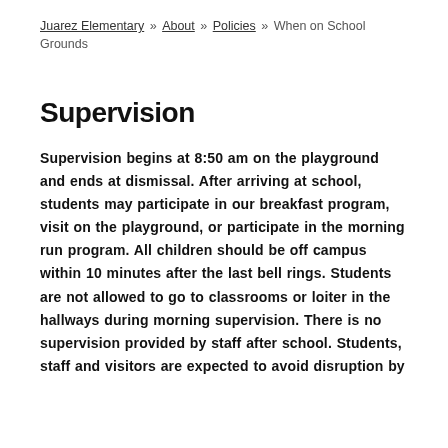Juarez Elementary » About » Policies » When on School Grounds
Supervision
Supervision begins at 8:50 am on the playground and ends at dismissal. After arriving at school, students may participate in our breakfast program, visit on the playground, or participate in the morning run program. All children should be off campus within 10 minutes after the last bell rings. Students are not allowed to go to classrooms or loiter in the hallways during morning supervision. There is no supervision provided by staff after school. Students, staff and visitors are expected to avoid disruption by